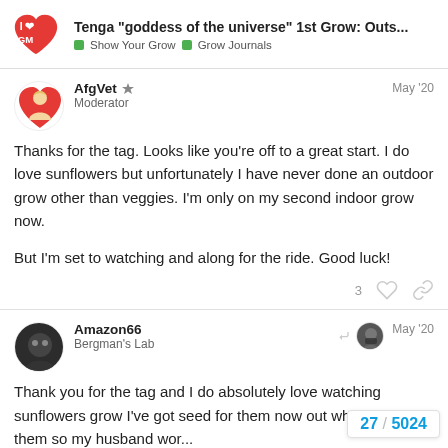Tenga “goddess of the universe” 1st Grow: Outs... | Show Your Grow | Grow Journals
AfgVet
Moderator
May ’20
Thanks for the tag. Looks like you’re off to a great start. I do love sunflowers but unfortunately I have never done an outdoor grow other than veggies. I’m only on my second indoor grow now.

But I’m set to watching and along for the ride. Good luck!
Amazon66
Bergman’s Lab
May ’20
Thank you for the tag and I do absolutely love watching sunflowers grow I’ve got seed for them now out where to put them so my husband wor...
27 / 5024